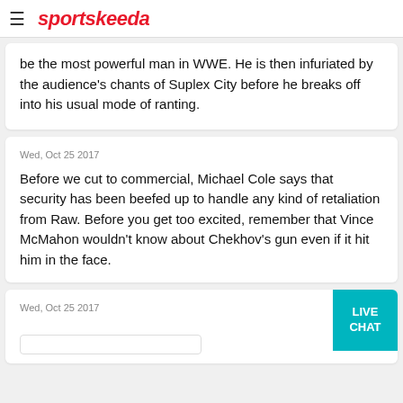sportskeeda
be the most powerful man in WWE. He is then infuriated by the audience's chants of Suplex City before he breaks off into his usual mode of ranting.
Wed, Oct 25 2017
Before we cut to commercial, Michael Cole says that security has been beefed up to handle any kind of retaliation from Raw. Before you get too excited, remember that Vince McMahon wouldn't know about Chekhov's gun even if it hit him in the face.
Wed, Oct 25 2017